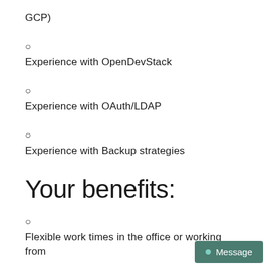GCP)
Experience with OpenDevStack
Experience with OAuth/LDAP
Experience with Backup strategies
Your benefits:
Flexible work times in the office or working from